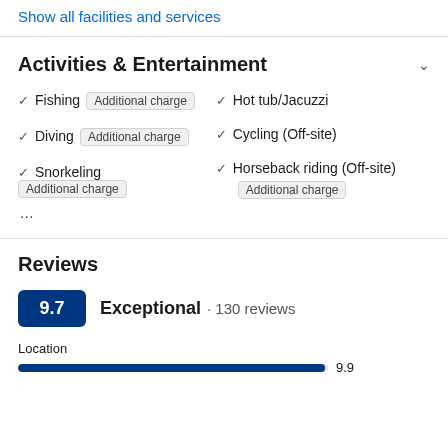Show all facilities and services
Activities & Entertainment
Fishing  Additional charge
Hot tub/Jacuzzi
Cycling (Off-site)
Diving  Additional charge
Horseback riding (Off-site)  Additional charge
Snorkeling  Additional charge
...
Reviews
9.7  Exceptional · 130 reviews
Location
9.9